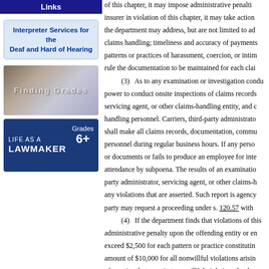Links
Interpreter Services for the Deaf and Hard of Hearing
[Figure (photo): Blurred image with text overlay suggesting 'Finding Grades' or similar educational content]
[Figure (photo): Life as a Lawmaker banner - Grades 6+, dark blue background with capitol building imagery]
of this chapter, it may impose administrative penalties on any insurer in violation of this chapter, it may take action ... the department may address, but are not limited to address claims handling; timeliness and accuracy of payments; patterns or practices of harassment, coercion, or intimidation; rule the documentation to be maintained for each claim.

(3) As to any examination or investigation conducted ... power to conduct onsite inspections of claims records ... servicing agent, or other claims-handling entity, and claims handling personnel. Carriers, third-party administrators ... shall make all claims records, documentation, communications, personnel during regular business hours. If any person withholds or documents or fails to produce an employee for interview ... attendance by subpoena. The results of an examination ... party administrator, servicing agent, or other claims-handling entity ... any violations that are asserted. Such report is agency action ... party may request a proceeding under s. 120.57 with ...

(4) If the department finds that violations of this ... administrative penalty upon the offending entity or employer not to exceed $2,500 for each pattern or practice constituting ... amount of $10,000 for all nonwillful violations arising ... of practice that constitutes a willful violation, the department ... offending entity not to exceed $20,000 for each willful ...